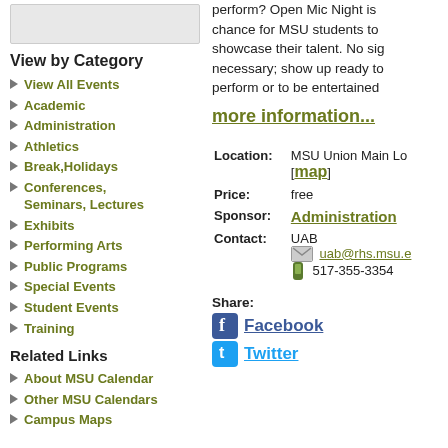[Figure (other): Gray placeholder box in left column]
View by Category
View All Events
Academic
Administration
Athletics
Break,Holidays
Conferences, Seminars, Lectures
Exhibits
Performing Arts
Public Programs
Special Events
Student Events
Training
Related Links
About MSU Calendar
Other MSU Calendars
Campus Maps
perform? Open Mic Night is chance for MSU students to showcase their talent. No sig necessary; show up ready to perform or to be entertained
more information...
| Location: | MSU Union Main Lo [map] |
| Price: | free |
| Sponsor: | Administration |
| Contact: | UAB
uab@rhs.msu.e
517-355-3354 |
Share:
Facebook
Twitter